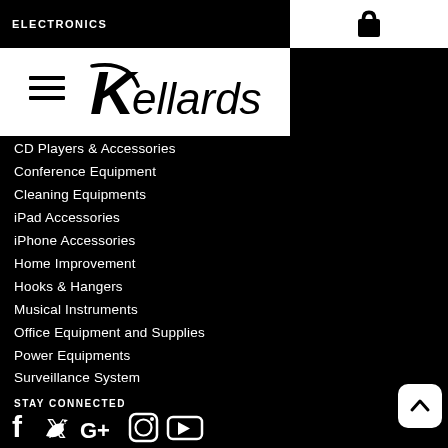ELECTRONICS
[Figure (logo): Shopping bag icon (cart)]
[Figure (logo): Hamburger menu icon (three horizontal lines)]
[Figure (logo): Kellards logo with stylized K and italic text]
CD Players & Accessories
Conference Equipment
Cleaning Equipments
iPad Accessories
iPhone Accessories
Home Improvement
Hooks & Hangers
Musical Instruments
Office Equipment and Supplies
Power Equipments
Surveillance System
STAY CONNECTED
[Figure (infographic): Social media icons: Facebook, Twitter, Google+, Instagram, YouTube]